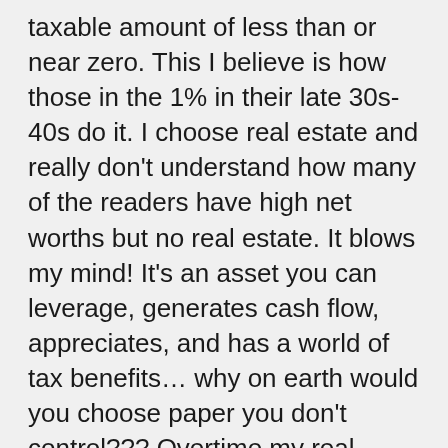taxable amount of less than or near zero. This I believe is how those in the 1% in their late 30s-40s do it. I choose real estate and really don't understand how many of the readers have high net worths but no real estate. It blows my mind! It's an asset you can leverage, generates cash flow, appreciates, and has a world of tax benefits… why on earth would you choose paper you don't control??? Overtime my real estate income will replace and surpass my earned income resulting in a healthy tax sheltered retirement income which grows over time.
It will be near mathematically impossible